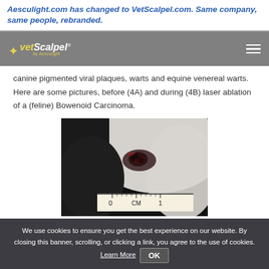Aesculight.com has changed to VetScalpel.com. Same company, same people, rebranded.
[Figure (logo): VetScalpel logo with yellow star and text on grey navigation bar]
canine pigmented viral plaques, warts and equine venereal warts.  Here are some pictures, before (4A) and during (4B) laser ablation of a (feline) Bowenoid Carcinoma.
[Figure (photo): Close-up photo of a feline skin lesion (Bowenoid Carcinoma) with a ruler showing scale in centimeters. The lesion appears dark/pigmented on white fur.]
We use cookies to ensure you get the best experience on our website. By closing this banner, scrolling, or clicking a link, you agree to the use of cookies. Learn More OK